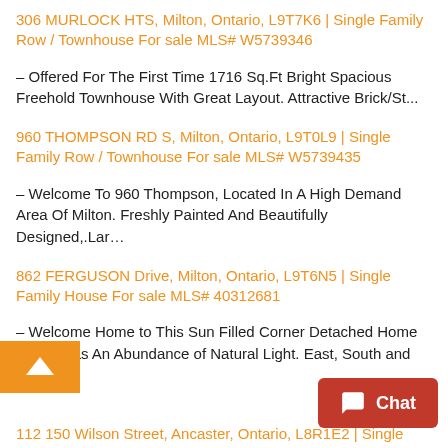306 MURLOCK HTS, Milton, Ontario, L9T7K6 | Single Family Row / Townhouse For sale MLS# W5739346
– Offered For The First Time 1716 Sq.Ft Bright Spacious Freehold Townhouse With Great Layout. Attractive Brick/St...
960 THOMPSON RD S, Milton, Ontario, L9T0L9 | Single Family Row / Townhouse For sale MLS# W5739435
– Welcome To 960 Thompson, Located In A High Demand Area Of Milton. Freshly Painted And Beautifully Designed,.Lar…
862 FERGUSON Drive, Milton, Ontario, L9T6N5 | Single Family House For sale MLS# 40312681
– Welcome Home to This Sun Filled Corner Detached Home Which Has An Abundance of Natural Light. East, South and W...
112 150 Wilson Street, Ancaster, Ontario, L8R1E2 | Single